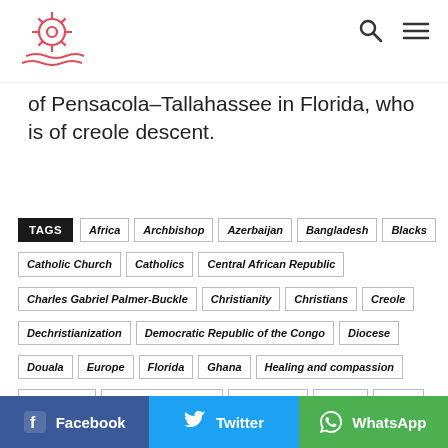[Logo] [Search icon] [Menu icon]
of Pensacola–Tallahassee in Florida, who is of creole descent.
TAGS: Africa, Archbishop, Azerbaijan, Bangladesh, Blacks, Catholic Church, Catholics, Central African Republic, Charles Gabriel Palmer-Buckle, Christianity, Christians, Creole, Dechristianization, Democratic Republic of the Congo, Diocese, Douala, Europe, Florida, Ghana, Healing and compassion, Ivory Coast, John Huston Ricard, John Paul II, Jordan, Kenya, Message of Christ, Morocco, Muslims, Pensacola–Tallahassee, Polish, Pontiff, Pope, The Gospel, Togo, Tunisia, Turkey, Whites, Zaire
Facebook  Twitter  WhatsApp